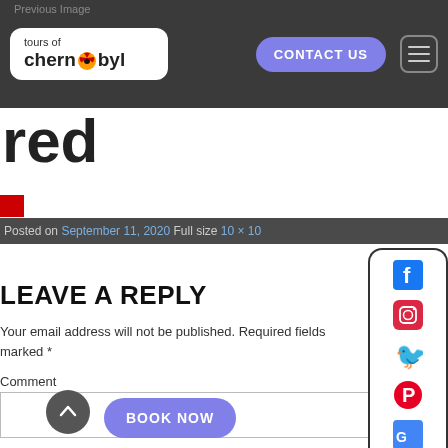Previous Image
[Figure (logo): Tours of Chernobyl logo with radiation symbol]
CONTACT US
red
Posted on September 11, 2020 Full size 10 × 10
LEAVE A REPLY
Your email address will not be published. Required fields marked *
Comment
[Figure (screenshot): Social media icons panel: Facebook, Instagram, Twitter, Pinterest, Google Maps, YouTube, TripAdvisor]
BOOK NOW